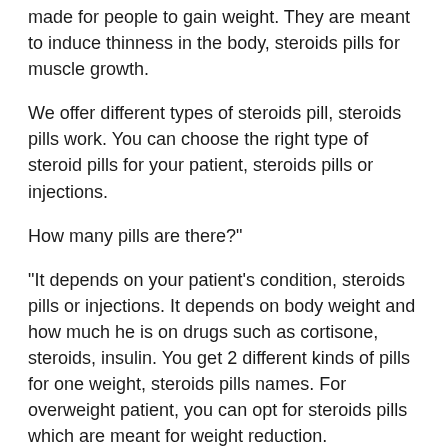made for people to gain weight. They are meant to induce thinness in the body, steroids pills for muscle growth.
We offer different types of steroids pill, steroids pills work. You can choose the right type of steroid pills for your patient, steroids pills or injections.
How many pills are there?"
"It depends on your patient's condition, steroids pills or injections. It depends on body weight and how much he is on drugs such as cortisone, steroids, insulin. You get 2 different kinds of pills for one weight, steroids pills names. For overweight patient, you can opt for steroids pills which are meant for weight reduction.
For an obese patient, you can also